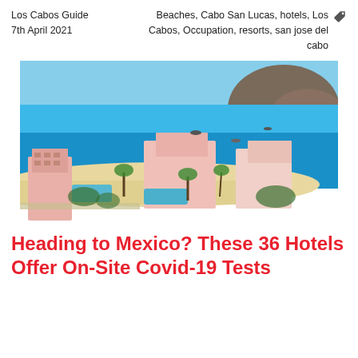Los Cabos Guide
7th April 2021
Beaches, Cabo San Lucas, hotels, Los Cabos, Occupation, resorts, san jose del cabo
[Figure (photo): Aerial view of a beach resort in Cabo San Lucas, Mexico, showing pink hotel buildings, swimming pools, palm trees, white sand beach, turquoise blue ocean, and a rocky mountain headland in the background.]
Heading to Mexico? These 36 Hotels Offer On-Site Covid-19 Tests